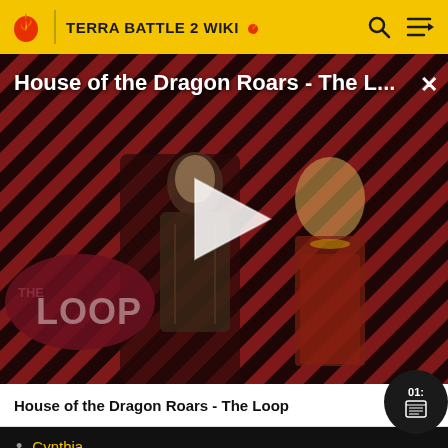TERRA BATTLE 2 WIKI
[Figure (screenshot): Video thumbnail showing House of the Dragon Roars - The Loop with two characters in medieval/fantasy armor, diagonal red and black stripes background, play button in center, THE LOOP logo in lower left]
House of the Dragon Roars - The Loop
Cynthia
El
Kit
Nene